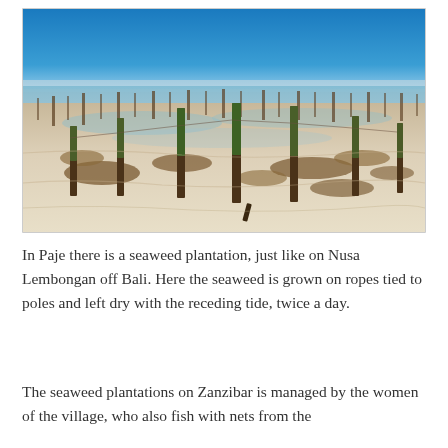[Figure (photo): A seaweed plantation at low tide in Paje, Zanzibar. Wooden poles stick up from a sandy beach with shallow water. Green seaweed grows attached to the poles and ropes. Brown seaweed clusters lie on the wet sand. The sky is bright blue in the background.]
In Paje there is a seaweed plantation, just like on Nusa Lembongan off Bali. Here the seaweed is grown on ropes tied to poles and left dry with the receding tide, twice a day.
The seaweed plantations on Zanzibar is managed by the women of the village, who also fish with nets from the